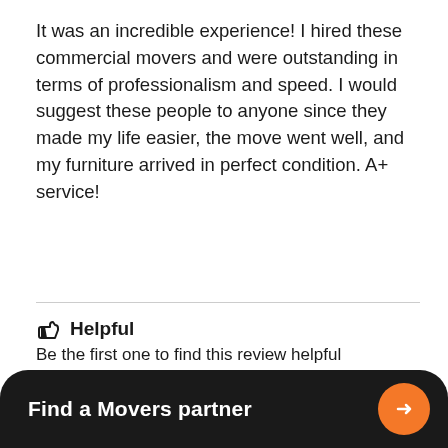It was an incredible experience! I hired these commercial movers and were outstanding in terms of professionalism and speed. I would suggest these people to anyone since they made my life easier, the move went well, and my furniture arrived in perfect condition. A+ service!
👍 Helpful
Be the first one to find this review helpful
[Figure (other): Five star rating icons (outlined stars, light gray)]
Morgan of Beaverton, OR
Find a Movers partner